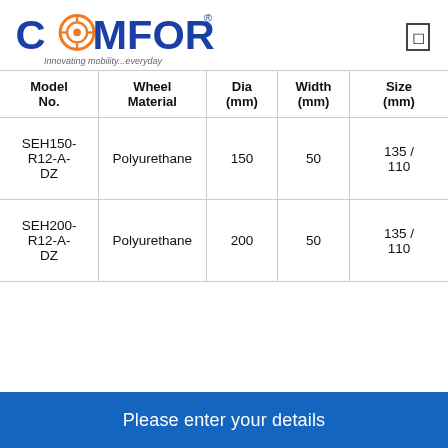[Figure (logo): Comfort brand logo with tagline 'Innovating mobility...everyday']
| Model No. | Wheel Material | Dia (mm) | Width (mm) | Size (mm) |
| --- | --- | --- | --- | --- |
| SEH150-R12-A-DZ | Polyurethane | 150 | 50 | 135 / 110 |
| SEH200-R12-A-DZ | Polyurethane | 200 | 50 | 135 / 110 |
Please enter your details